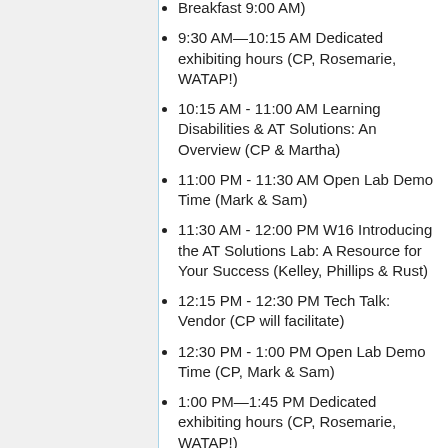Breakfast 9:00 AM)
9:30 AM—10:15 AM Dedicated exhibiting hours (CP, Rosemarie, WATAP!)
10:15 AM - 11:00 AM Learning Disabilities & AT Solutions: An Overview (CP & Martha)
11:00 PM - 11:30 AM Open Lab Demo Time (Mark & Sam)
11:30 AM - 12:00 PM W16 Introducing the AT Solutions Lab: A Resource for Your Success (Kelley, Phillips & Rust)
12:15 PM - 12:30 PM Tech Talk: Vendor (CP will facilitate)
12:30 PM - 1:00 PM Open Lab Demo Time (CP, Mark & Sam)
1:00 PM—1:45 PM Dedicated exhibiting hours (CP, Rosemarie, WATAP!)